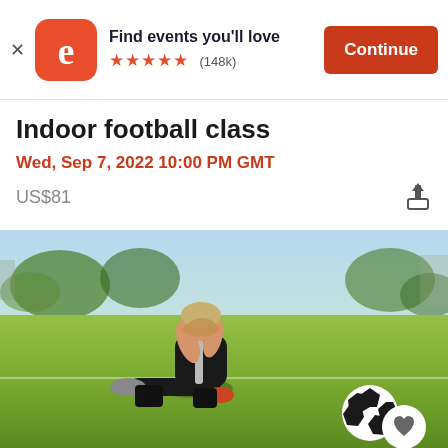Find events you'll love ★★★★★ (148k) Continue
Indoor football class
Wed, Sep 7, 2022 10:00 PM GMT
US$81
[Figure (photo): A football player in a black jersey sitting on a green grass field holding his ankle or leg in apparent pain, with a black and white soccer ball nearby on the ground]